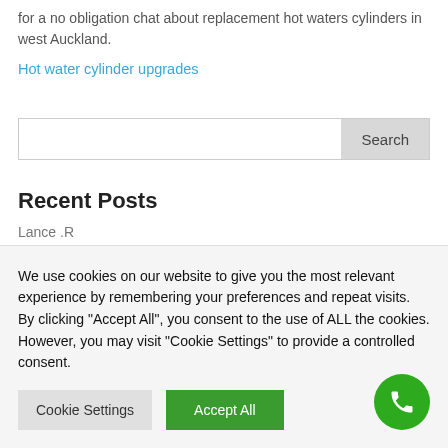for a no obligation chat about replacement hot waters cylinders in west Auckland.
Hot water cylinder upgrades
Search
Recent Posts
Lance .R
We use cookies on our website to give you the most relevant experience by remembering your preferences and repeat visits. By clicking “Accept All”, you consent to the use of ALL the cookies. However, you may visit "Cookie Settings" to provide a controlled consent.
Cookie Settings
Accept All